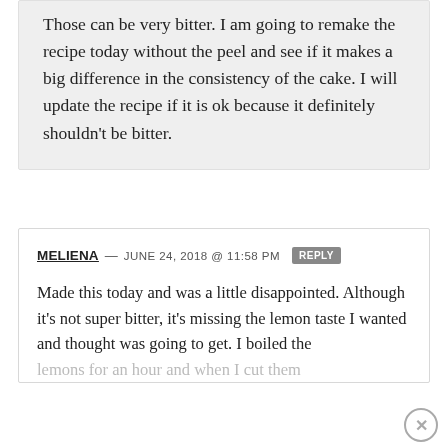Those can be very bitter. I am going to remake the recipe today without the peel and see if it makes a big difference in the consistency of the cake. I will update the recipe if it is ok because it definitely shouldn't be bitter.
MELIENA — JUNE 24, 2018 @ 11:58 PM REPLY
Made this today and was a little disappointed. Although it's not super bitter, it's missing the lemon taste I wanted and thought was going to get. I boiled the lemons for an hour and when I cut them